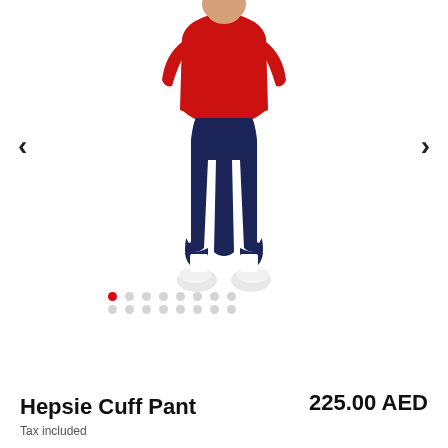[Figure (photo): Product photo of a child wearing a red t-shirt and navy blue Hepsie Cuff Pant with white side stripes, viewed from behind, on a white background. Left and right navigation arrows visible. Two rows of dot indicators below the image, with first dot in red (active) and remaining dots in gray.]
Hepsie Cuff Pant
225.00 AED
Tax included